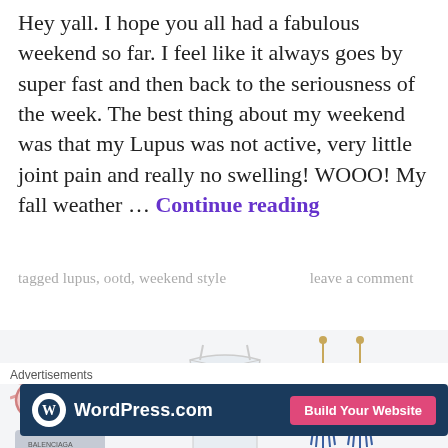Hey yall. I hope you all had a fabulous weekend so far. I feel like it always goes by super fast and then back to the seriousness of the week. The best thing about my weekend was that my Lupus was not active, very little joint pain and really no swelling! WOOO! My fall weather … Continue reading
tagged lupus, ootd, weekend style    leave a comment
[Figure (photo): Product collage showing pink cat-eye sunglasses, white bralette/bustier top, blue tassel drop earrings, and gold chain bracelet on light grey background]
Advertisements
[Figure (other): WordPress.com advertisement banner with dark navy background, WordPress logo on left, and pink 'Build Your Website' button on right]